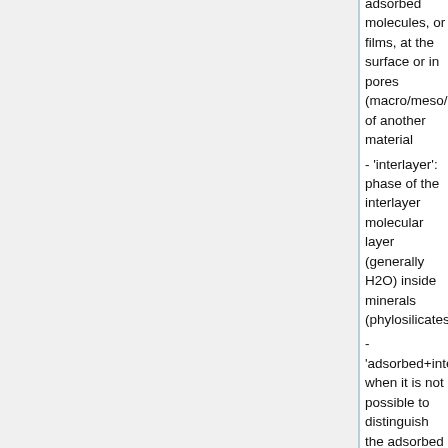adsorbed molecules, or films, at the surface or in pores (macro/meso/micro) of another material
'interlayer': phase of the interlayer molecular layer (generally H2O) inside minerals (phylosilicates)
'adsorbed+interlayer': when it is not possible to distinguish the adsorbed and interlayer phases
'mono-multimers': Van der Walls aggregates up to 4 molecules
'cluster': Van der Walls aggregates of 5 to 100 000 molecules
'supercooled liquid': liquid phase under the freezing point
'liquid' : liquid phase
'gas': gaseous phase